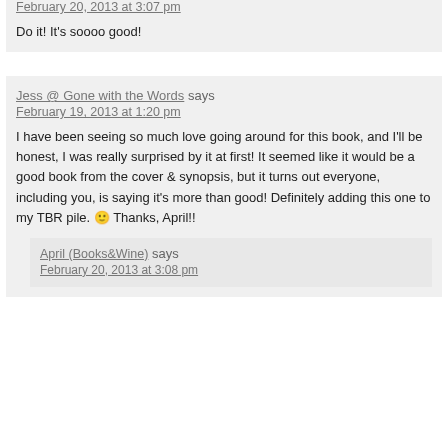February 20, 2013 at 3:07 pm
Do it! It's soooo good!
Jess @ Gone with the Words says
February 19, 2013 at 1:20 pm
I have been seeing so much love going around for this book, and I'll be honest, I was really surprised by it at first! It seemed like it would be a good book from the cover & synopsis, but it turns out everyone, including you, is saying it's more than good! Definitely adding this one to my TBR pile. 🙂 Thanks, April!!
April (Books&Wine) says
February 20, 2013 at 3:08 pm